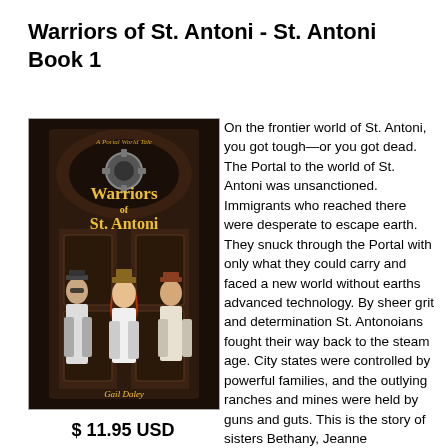Warriors of St. Antoni - St. Antoni Book 1
[Figure (illustration): Book cover of 'Warriors of St. Antoni' showing three steampunk-dressed characters (two women and one man) in front of a dark mechanical doorway. Title text in yellow reads 'Warriors of St. Antoni', subtitle 'A Portal World Tale', author 'Gail Daley']
On the frontier world of St. Antoni, you got tough—or you got dead. The Portal to the world of St. Antoni was unsanctioned. Immigrants who reached there were desperate to escape earth. They snuck through the Portal with only what they could carry and faced a new world without earths advanced technology. By sheer grit and determination St. Antonoians fought their way back to the steam age. City states were controlled by powerful families, and the outlying ranches and mines were held by guns and guts. This is the story of sisters Bethany, Jeanne
$ 11.95 USD